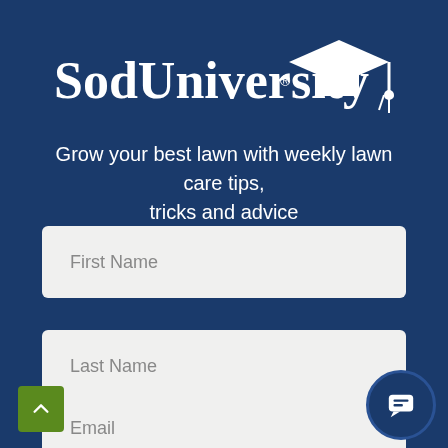[Figure (logo): SodUniversity logo with graduation cap icon in white on dark blue background]
Grow your best lawn with weekly lawn care tips, tricks and advice
First Name
Last Name
Email